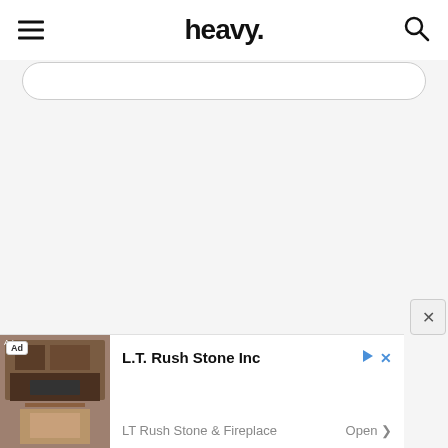heavy.
[Figure (screenshot): Search input box with rounded corners]
[Figure (photo): Advertisement banner for L.T. Rush Stone Inc showing a stone fireplace. Ad badge visible. Title: L.T. Rush Stone Inc. Subtitle: LT Rush Stone & Fireplace. Action: Open]
Ad L.T. Rush Stone Inc LT Rush Stone & Fireplace Open